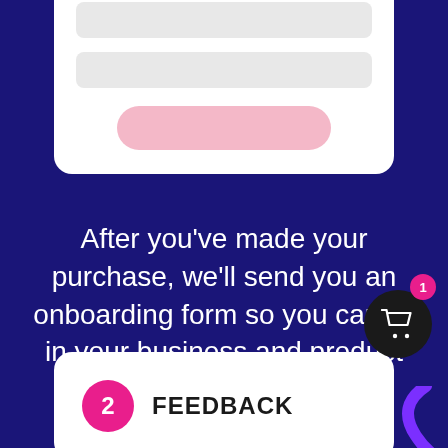[Figure (illustration): Partially visible white card UI mockup with two gray input bars and a pink rounded button]
After you've made your purchase, we'll send you an onboarding form so you can fill in your business and product information.
[Figure (illustration): Bottom white card with pink circle numbered '2' and bold text 'FEEDBACK', plus a dark circle cart icon with badge '1']